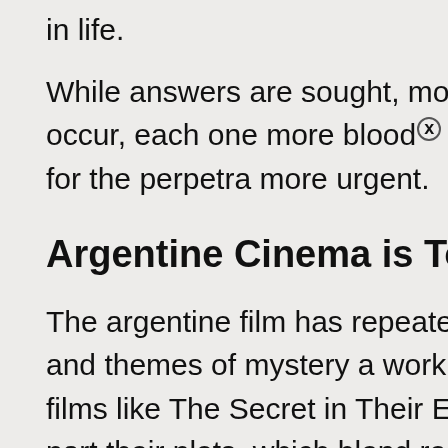in life.
While answers are sought, more and more fatalities occur, each one more bloody than the last, making the hunt for the perpetrator more urgent.
Argentine Cinema is Top
The argentine film has repeatedly demonstrated that thrillers and themes of mystery and crime work best for it. We have films like The Secret in Their Eyes that succeed partly due to their plots, which blend reality, mystery, and human psychology in one location.